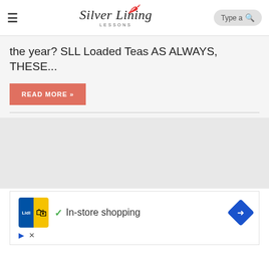Silver Lining Lessons
the year? SLL Loaded Teas AS ALWAYS, THESE...
READ MORE »
[Figure (other): Gray placeholder card image area]
[Figure (other): Advertisement block showing Lidl logo with In-store shopping text and navigation arrow icon]